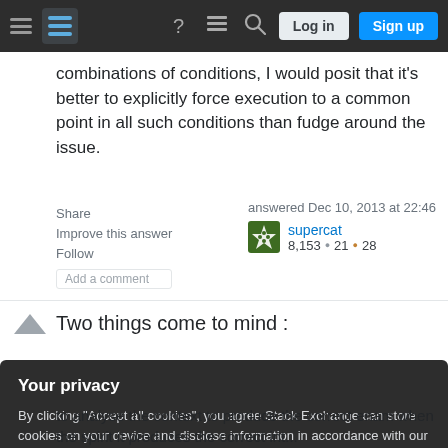[Figure (screenshot): Stack Exchange navigation bar with hamburger menu, logo, help icon, chat icon, search icon, Log in button, and Sign up button on dark background]
combinations of conditions, I would posit that it's better to explicitly force execution to a common point in all such conditions than fudge around the issue.
Share
Improve this answer
Follow
Add a comment
answered Dec 10, 2013 at 22:46
supercat
8,153 • 21 • 28
Two things come to mind :
Your privacy
By clicking "Accept all cookies", you agree Stack Exchange can store cookies on your device and disclose information in accordance with our Cookie Policy.
Accept all cookies
Customize settings
to analyse the context to produce the correct enam when the spirit it produces the correct int...